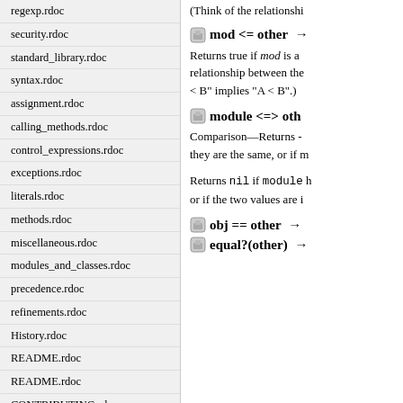regexp.rdoc
security.rdoc
standard_library.rdoc
syntax.rdoc
assignment.rdoc
calling_methods.rdoc
control_expressions.rdoc
exceptions.rdoc
literals.rdoc
methods.rdoc
miscellaneous.rdoc
modules_and_classes.rdoc
precedence.rdoc
refinements.rdoc
History.rdoc
README.rdoc
README.rdoc
CONTRIBUTING.rdoc
History.rdoc
README.rdoc
command_line_usage.rdoc
(Think of the relationshi
mod <= other →
Returns true if mod is a relationship between the < B" implies "A < B".)
module <=> oth
Comparison—Returns - they are the same, or if m
Returns nil if module h or if the two values are i
obj == other →
equal?(other) →